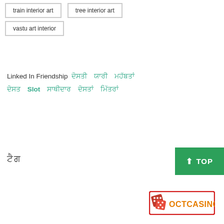train interior art
tree interior art
vastu art interior
Linked In Friendship  ਦੋਸਤੀ  ਯਾਰੀ  ਮਹੱਬਤਾਂ  ਦੋਸਤ  Slot  ਸਾਥੀਦਾਰ  ਦੋਸਤਾਂ  ਮਿੱਤਰਾਂ
ਟੈਗ
[Figure (logo): OCTCASINO logo with red dice, yellow text on white background with red border]